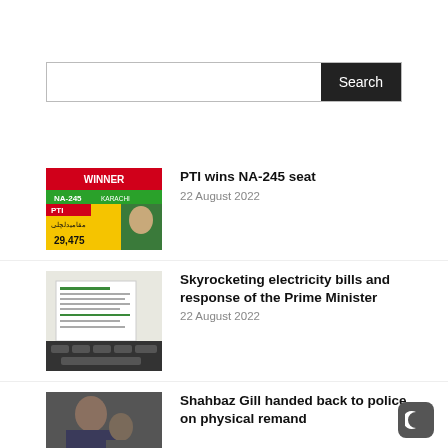Search
PTI wins NA-245 seat
22 August 2022
Skyrocketing electricity bills and response of the Prime Minister
22 August 2022
Shahbaz Gill handed back to police on physical remand